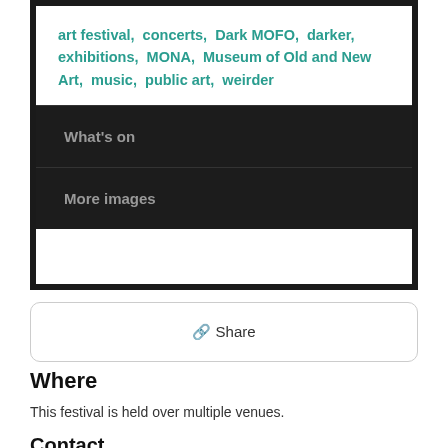art festival, concerts, Dark MOFO, darker, exhibitions, MONA, Museum of Old and New Art, music, public art, weirder
What's on
More images
🔗 Share
Where
This festival is held over multiple venues.
Contact